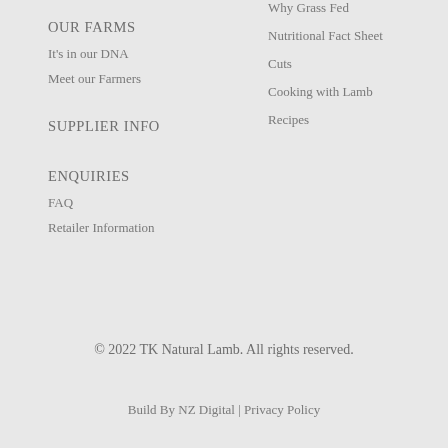OUR FARMS
It's in our DNA
Meet our Farmers
Why Grass Fed
Nutritional Fact Sheet
Cuts
Cooking with Lamb
Recipes
SUPPLIER INFO
ENQUIRIES
FAQ
Retailer Information
© 2022 TK Natural Lamb. All rights reserved.
Build By NZ Digital | Privacy Policy